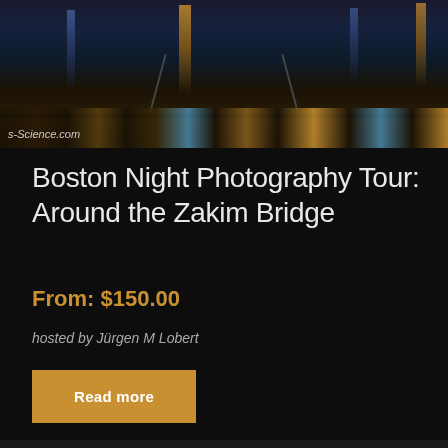[Figure (photo): Night photography of the Zakim Bridge in Boston, showing illuminated bridge cables and reflections in dark water. Watermark 's-Science.com' visible in bottom left corner.]
Boston Night Photography Tour: Around the Zakim Bridge
From: $150.00
hosted by Jürgen M Lobert
Read more